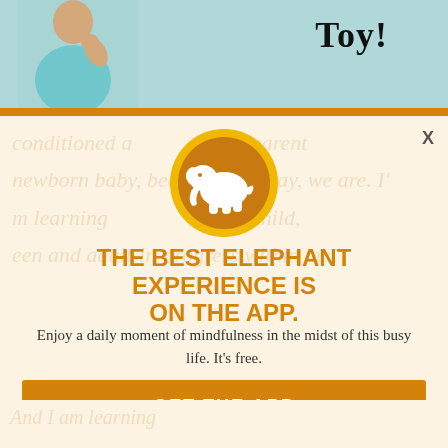[Figure (photo): Top strip showing a person in a teal shirt with 'Toy!' text visible]
[Figure (logo): Orange circle with white elephant silhouette logo]
THE BEST ELEPHANT EXPERIENCE IS ON THE APP.
Enjoy a daily moment of mindfulness in the midst of this busy life. It's free.
GET THE APP
OPEN IN APP